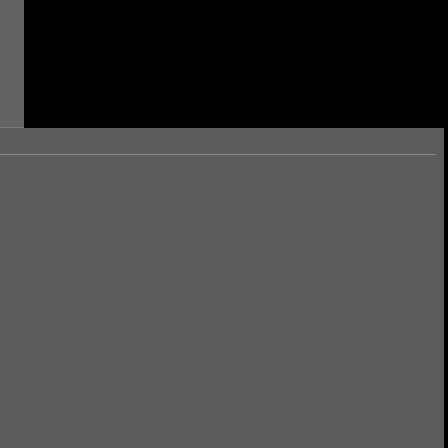[Figure (screenshot): Forum post page showing user avatars, usernames, like counts, action icons, and post content. Partial view cropped from a larger forum thread.]
884
Posted - 2013.03.09 09:20:00 - [6] - Quo
Produced by Apex
Axis of Hugs
0
Guess so, thanks to all
Posted - 2013.03.09 09:27:00 - [7] - Quo
flakeys
Arkham Innovations
Paper Tiger Coalition
884
Let us know what was the reason it didn't
We are all born ignorant, but one must w
Posted - 2013.03.09 10:01:00 - [8] - Quo